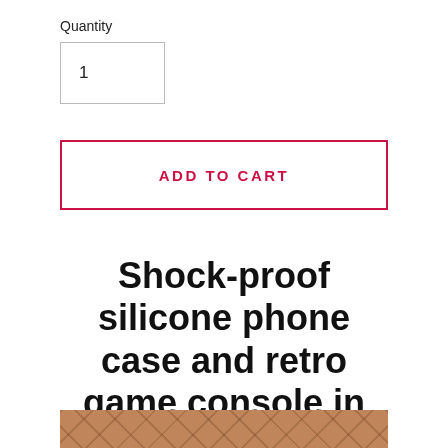Quantity
1
ADD TO CART
Shock-proof silicone phone case and retro game console in one
[Figure (photo): Close-up photo of brick or paving stone surface with diagonal pattern, partially visible at bottom of page]